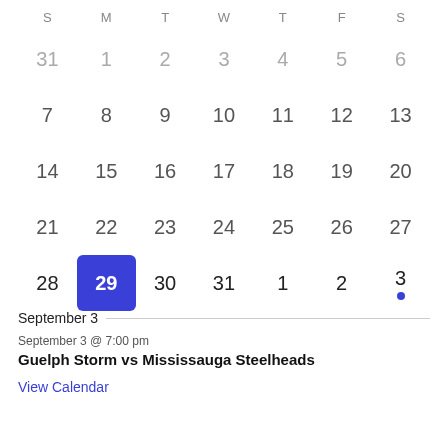| S | M | T | W | T | F | S |
| --- | --- | --- | --- | --- | --- | --- |
| 31 | 1 | 2 | 3 | 4 | 5 | 6 |
| 7 | 8 | 9 | 10 | 11 | 12 | 13 |
| 14 | 15 | 16 | 17 | 18 | 19 | 20 |
| 21 | 22 | 23 | 24 | 25 | 26 | 27 |
| 28 | 29 | 30 | 31 | 1 | 2 | 3 |
September 3
September 3 @ 7:00 pm
Guelph Storm vs Mississauga Steelheads
View Calendar